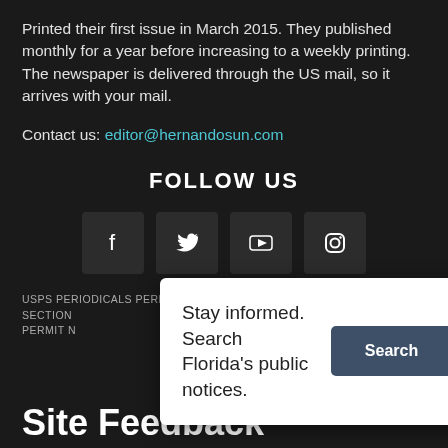Printed their first issue in March 2015. They published monthly for a year before increasing to a weekly printing. The newspaper is delivered through the US mail, so it arrives with your mail.
Contact us: editor@hernandosun.com
FOLLOW US
[Figure (infographic): Four social media icon buttons: Facebook (f), Twitter (bird), YouTube (play button), Instagram (camera outline)]
USPS PERIODICALS PERMIT AS REQUIRED FOR PUBLIC NOTICES PER SECTION... PERMIT N...
[Figure (infographic): White popup card reading 'Stay informed. Search Florida's public notices.' with a dark Search button]
Site Feedback